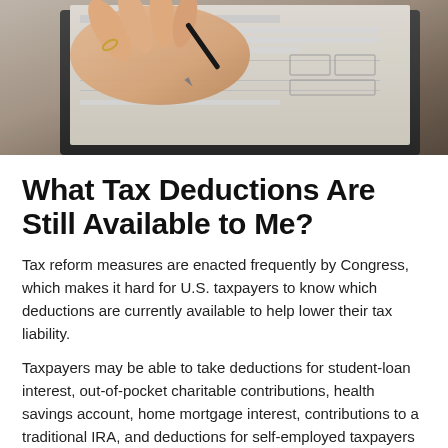[Figure (photo): Close-up photo of a person's hand holding a pen, writing on a tax form on a clipboard]
What Tax Deductions Are Still Available to Me?
Tax reform measures are enacted frequently by Congress, which makes it hard for U.S. taxpayers to know which deductions are currently available to help lower their tax liability.
Taxpayers may be able to take deductions for student-loan interest, out-of-pocket charitable contributions, health savings account, home mortgage interest, contributions to a traditional IRA, and deductions for self-employed taxpayers (SE tax, SE health insurance, SE qualified retirement plan contributions). Of course, some tax deductions are limited or disappear as